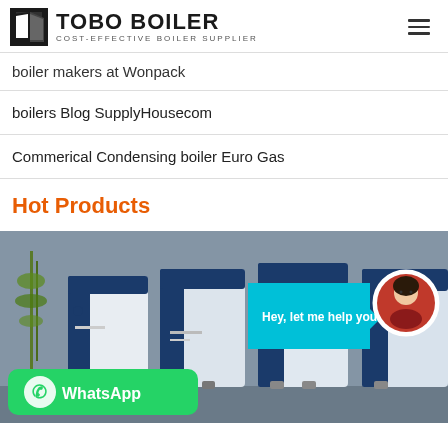TOBO BOILER - COST-EFFECTIVE BOILER SUPPLIER
boiler makers at Wonpack
boilers Blog SupplyHousecom
Commerical Condensing boiler Euro Gas
Hot Products
[Figure (photo): Multiple blue and white industrial boiler units displayed in a showroom with bamboo plants in the background. Overlaid UI elements: a cyan chat bubble saying 'Hey, let me help you!', a circular avatar of a woman, a WhatsApp button in green, and a green online indicator dot.]